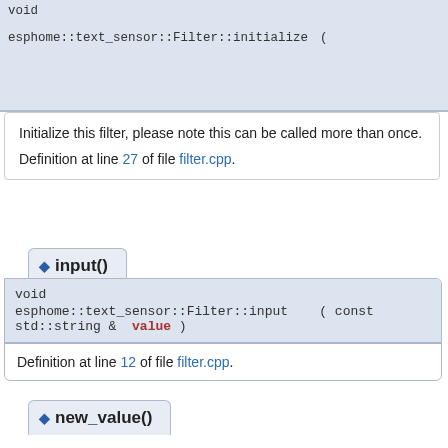| void |  |  |
| esphome::text_sensor::Filter::initialize | ( | TextSensor *  parent, |
|  | Filter * | next |
|  | ) | virtual |
Initialize this filter, please note this can be called more than once.
Definition at line 27 of file filter.cpp.
◆ input()
| void |  |  |
| esphome::text_sensor::Filter::input | ( | const std::string &  value ) |
Definition at line 12 of file filter.cpp.
◆ new_value()